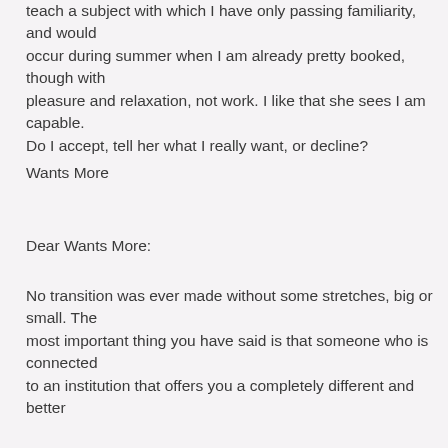teach a subject with which I have only passing familiarity, and would occur during summer when I am already pretty booked, though with pleasure and relaxation, not work. I like that she sees I am capable. Do I accept, tell her what I really want, or decline?
Wants More
Dear Wants More:
No transition was ever made without some stretches, big or small. The most important thing you have said is that someone who is connected to an institution that offers you a completely different and better